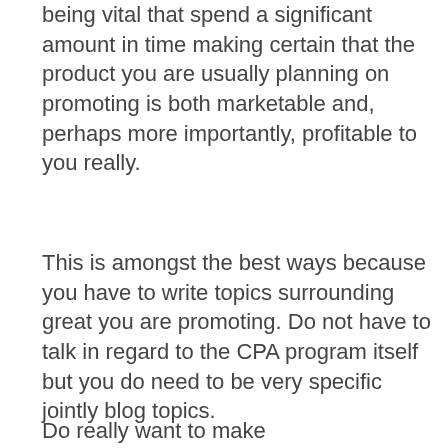being vital that spend a significant amount in time making certain that the product you are usually planning on promoting is both marketable and, perhaps more importantly, profitable to you really.
This is amongst the best ways because you have to write topics surrounding great you are promoting. Do not have to talk in regard to the CPA program itself but you do need to be very specific jointly blog topics.
Do really want to make